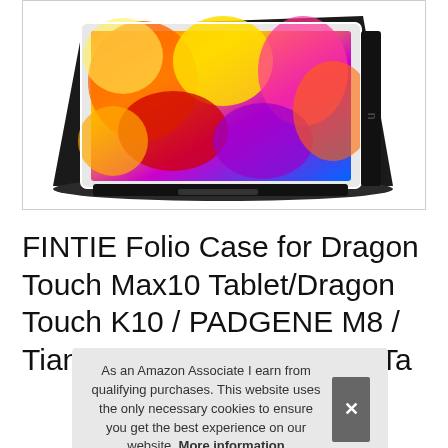[Figure (photo): Product photo of a FINTIE Folio Case — a black tablet case propped open in landscape orientation showing a colorful abstract/nature screensaver on the tablet screen. The case has a textured leather-like exterior.]
FINTIE Folio Case for Dragon Touch Max10 Tablet/Dragon Touch K10 / PADGENE M8 / Tianyida 10 / ibowin 10 PA Ta
As an Amazon Associate I earn from qualifying purchases. This website uses the only necessary cookies to ensure you get the best experience on our website. More information